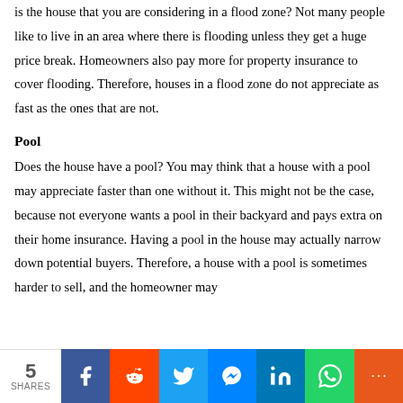is the house that you are considering in a flood zone? Not many people like to live in an area where there is flooding unless they get a huge price break. Homeowners also pay more for property insurance to cover flooding. Therefore, houses in a flood zone do not appreciate as fast as the ones that are not.
Pool
Does the house have a pool? You may think that a house with a pool may appreciate faster than one without it. This might not be the case, because not everyone wants a pool in their backyard and pays extra on their home insurance. Having a pool in the house may actually narrow down potential buyers. Therefore, a house with a pool is sometimes harder to sell, and the homeowner may
5 SHARES | Facebook | Reddit | Twitter | Messenger | LinkedIn | WhatsApp | More